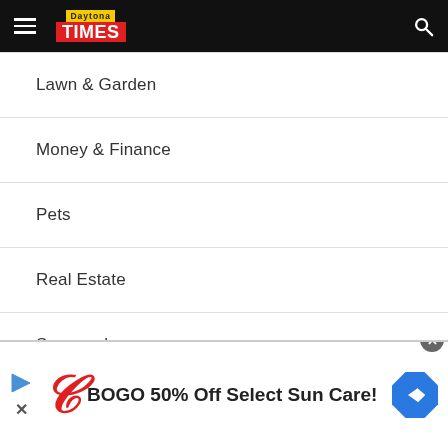Daytona Times
Lawn & Garden
Money & Finance
Pets
Real Estate
Seasonal
Senior Living
Tech Talk & Innovation
Travel
[Figure (screenshot): Walgreens advertisement banner: BOGO 50% Off Select Sun Care!]